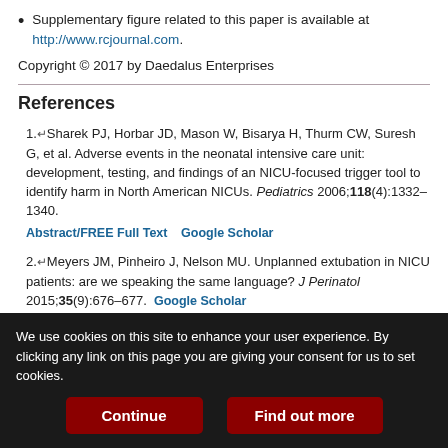Supplementary figure related to this paper is available at http://www.rcjournal.com.
Copyright © 2017 by Daedalus Enterprises
References
1. Sharek PJ, Horbar JD, Mason W, Bisarya H, Thurm CW, Suresh G, et al. Adverse events in the neonatal intensive care unit: development, testing, and findings of an NICU-focused trigger tool to identify harm in North American NICUs. Pediatrics 2006;118(4):1332–1340. Abstract/FREE Full Text  Google Scholar
2. Meyers JM, Pinheiro J, Nelson MU. Unplanned extubation in NICU patients: are we speaking the same language? J Perinatol 2015;35(9):676–677. Google Scholar
We use cookies on this site to enhance your user experience. By clicking any link on this page you are giving your consent for us to set cookies.